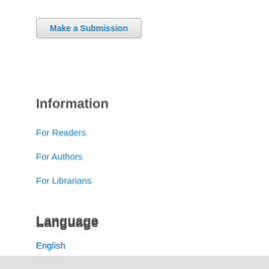Make a Submission
Information
For Readers
For Authors
For Librarians
Language
English
Português (Brasil)
Deutsch